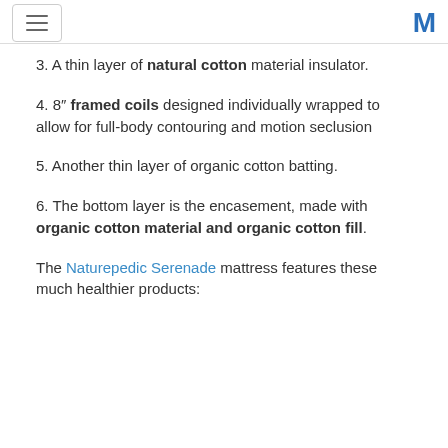[hamburger menu] [M logo]
3. A thin layer of natural cotton material insulator.
4. 8" framed coils designed individually wrapped to allow for full-body contouring and motion seclusion
5. Another thin layer of organic cotton batting.
6. The bottom layer is the encasement, made with organic cotton material and organic cotton fill.
The Naturepedic Serenade mattress features these much healthier products: